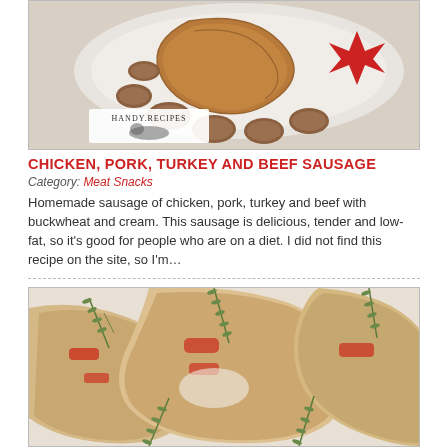[Figure (photo): Plate of mixed sausages including chicken, pork, turkey and beef sausage with a HANDY.RECIPES watermark logo in the lower left corner]
CHICKEN, PORK, TURKEY AND BEEF SAUSAGE
Category: Meat Snacks
Homemade sausage of chicken, pork, turkey and beef with buckwheat and cream. This sausage is delicious, tender and low-fat, so it's good for people who are on a diet. I did not find this recipe on the site, so I'm…
[Figure (photo): Close-up of chicken or meat wraps/rolls garnished with rosemary sprigs on a white plate]